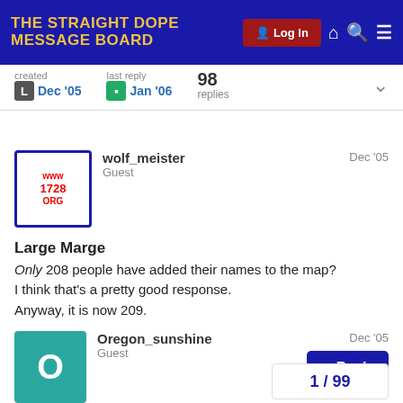THE STRAIGHT DOPE MESSAGE BOARD | Log In
created Dec '05 | last reply Jan '06 | 98 replies
wolf_meister
Guest
Dec '05

Large Marge
Only 208 people have added their names to the map? I think that's a pretty good response. Anyway, it is now 209.
Oregon_sunshine
Guest
Dec '05

I added me three times by mistake.

Typical